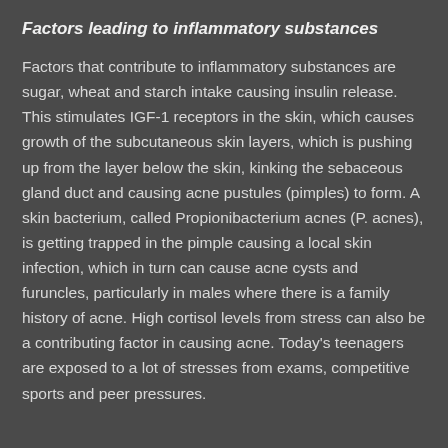Factors leading to inflammatory substances
Factors that contribute to inflammatory substances are sugar, wheat and starch intake causing insulin release. This stimulates IGF-1 receptors in the skin, which causes growth of the subcutaneous skin layers, which is pushing up from the layer below the skin, kinking the sebaceous gland duct and causing acne pustules (pimples) to form. A skin bacterium, called Propionibacterium acnes (P. acnes), is getting trapped in the pimple causing a local skin infection, which in turn can cause acne cysts and furuncles, particularly in males where there is a family history of acne. High cortisol levels from stress can also be a contributing factor in causing acne. Today's teenagers are exposed to a lot of stresses from exams, competitive sports and peer pressures.